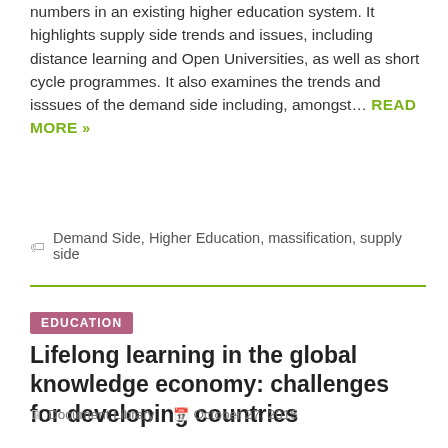numbers in an existing higher education system. It highlights supply side trends and issues, including distance learning and Open Universities, as well as short cycle programmes. It also examines the trends and isssues of the demand side including, amongst… READ MORE »
🏷 Demand Side, Higher Education, massification, supply side
EDUCATION
Lifelong learning in the global knowledge economy: challenges for developing countries
Document Library   October 27, 2015
This report explores the challenges to education and training systems that the knowledge economy presents. It outlines policy options for addressing these challenges and developing viable systems of lifelong learning in developing countries and countries with transition economies. It addresses four questions: 1) What does a national education and training system, including its formal and… READ MORE »